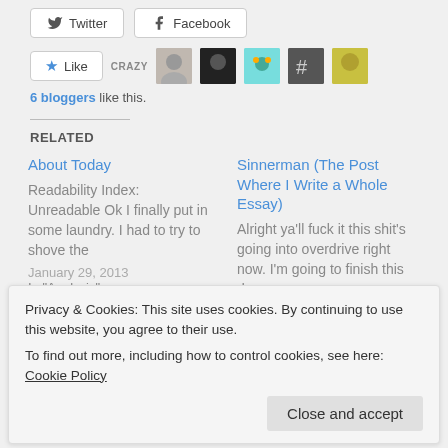[Figure (screenshot): Share buttons for Twitter and Facebook]
[Figure (screenshot): Like button with 6 blogger avatars including CRAZY label]
6 bloggers like this.
RELATED
About Today
Readability Index: Unreadable Ok I finally put in some laundry. I had to try to shove the
January 29, 2013
In "Analysis"
Sinnerman (The Post Where I Write a Whole Essay)
Alright ya'll fuck it this shit's going into overdrive right now. I'm going to finish this damn
going back on my
Privacy & Cookies: This site uses cookies. By continuing to use this website, you agree to their use.
To find out more, including how to control cookies, see here: Cookie Policy
Close and accept